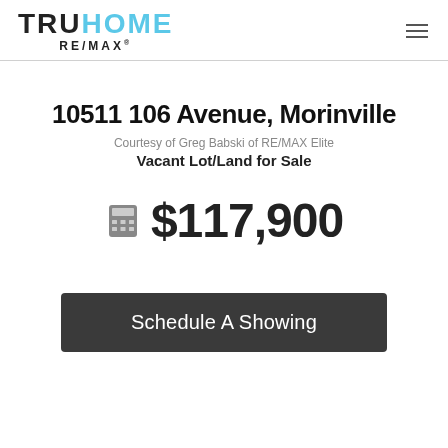TRUHOME RE/MAX
10511 106 Avenue, Morinville
Courtesy of Greg Babski of RE/MAX Elite
Vacant Lot/Land for Sale
$117,900
Schedule A Showing